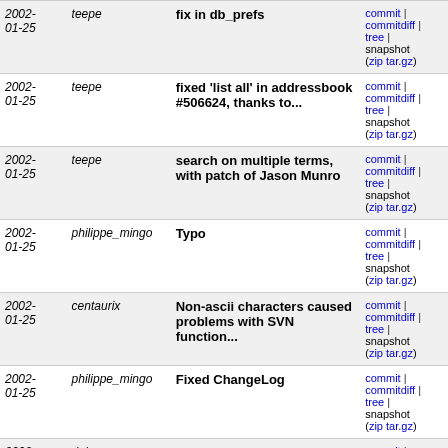| Date | Author | Message | Links |
| --- | --- | --- | --- |
| 2002-01-25 | teepe | fix in db_prefs | commit | commitdiff | tree | snapshot (zip tar.gz) |
| 2002-01-25 | teepe | fixed 'list all' in addressbook #506624, thanks to... | commit | commitdiff | tree | snapshot (zip tar.gz) |
| 2002-01-25 | teepe | search on multiple terms, with patch of Jason Munro | commit | commitdiff | tree | snapshot (zip tar.gz) |
| 2002-01-25 | philippe_mingo | Typo | commit | commitdiff | tree | snapshot (zip tar.gz) |
| 2002-01-25 | centaurix | Non-ascii characters caused problems with SVN function... | commit | commitdiff | tree | snapshot (zip tar.gz) |
| 2002-01-25 | philippe_mingo | Fixed ChangeLog | commit | commitdiff | tree | snapshot (zip tar.gz) |
| 2002-01-25 | dahanc | Change my email address | commit | commitdiff | tree | snapshot (zip tar.gz) |
| 2002-01-25 | dahanc | Netscape 4.x tries to honor the <TD WIDTH="100"> tag... | commit | commitdiff | tree | snapshot (zip tar.gz) |
| 2002-01-25 | teepe | time warp | commit |